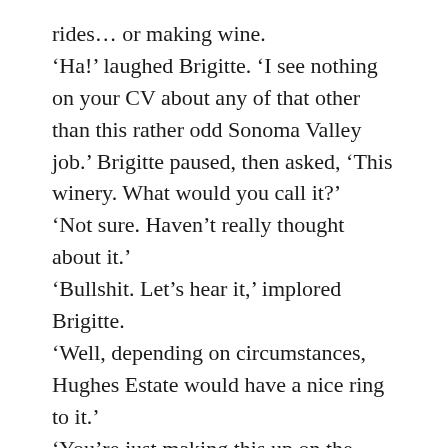rides… or making wine.
'Ha!' laughed Brigitte. 'I see nothing on your CV about any of that other than this rather odd Sonoma Valley job.' Brigitte paused, then asked, 'This winery. What would you call it?'
'Not sure. Haven't really thought about it.'
'Bullshit. Let's hear it,' implored Brigitte.
'Well, depending on circumstances, Hughes Estate would have a nice ring to it.'
'You're just making this up on the cuff!' She softened her tone. 'That name is so